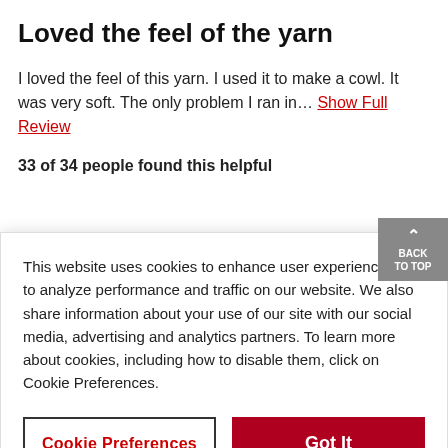Loved the feel of the yarn
I loved the feel of this yarn. I used it to make a cowl. It was very soft. The only problem I ran in... Show Full Review
33 of 34 people found this helpful
This website uses cookies to enhance user experience and to analyze performance and traffic on our website. We also share information about your use of our site with our social media, advertising and analytics partners. To learn more about cookies, including how to disable them, click on Cookie Preferences.
Cookie Preferences
Got It
I thought to make a simple baby sweater with this yarn. It had such a nice color. After starting my ...